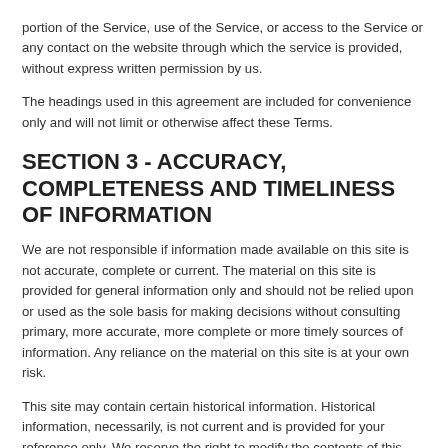portion of the Service, use of the Service, or access to the Service or any contact on the website through which the service is provided, without express written permission by us.
The headings used in this agreement are included for convenience only and will not limit or otherwise affect these Terms.
SECTION 3 - ACCURACY, COMPLETENESS AND TIMELINESS OF INFORMATION
We are not responsible if information made available on this site is not accurate, complete or current. The material on this site is provided for general information only and should not be relied upon or used as the sole basis for making decisions without consulting primary, more accurate, more complete or more timely sources of information. Any reliance on the material on this site is at your own risk.
This site may contain certain historical information. Historical information, necessarily, is not current and is provided for your reference only. We reserve the right to modify the contents of this site at any time, but we have no obligation to update any information on our site. You agree that it is your responsibility to monitor changes to our site.